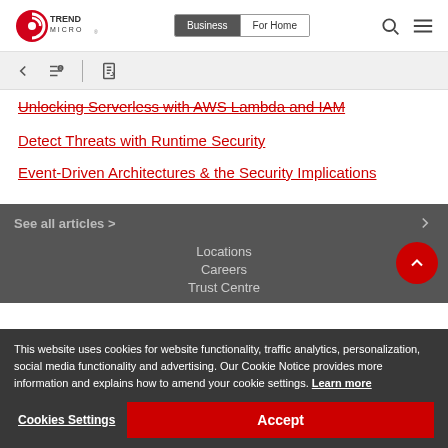Trend Micro — Business | For Home
Unlocking Serverless with AWS Lambda and IAM
Detect Threats with Runtime Security
Event-Driven Architectures & the Security Implications
See all articles >
Locations
Careers
Trust Centre
This website uses cookies for website functionality, traffic analytics, personalization, social media functionality and advertising. Our Cookie Notice provides more information and explains how to amend your cookie settings. Learn more
Cookies Settings | Accept